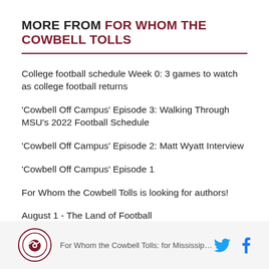MORE FROM FOR WHOM THE COWBELL TOLLS
College football schedule Week 0: 3 games to watch as college football returns
'Cowbell Off Campus' Episode 3: Walking Through MSU's 2022 Football Schedule
'Cowbell Off Campus' Episode 2: Matt Wyatt Interview
'Cowbell Off Campus' Episode 1
For Whom the Cowbell Tolls is looking for authors!
August 1 - The Land of Football
For Whom the Cowbell Tolls: for Mississippi State f